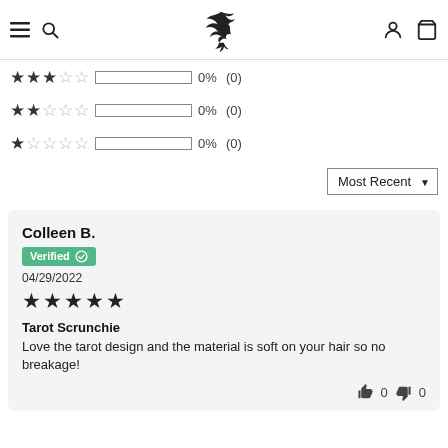Navigation bar with hamburger menu, search, logo, account and cart icons
3 stars: 0% (0)
2 stars: 0% (0)
1 star: 0% (0)
Sort: Most Recent
Colleen B. — Verified — 04/29/2022 — 5 stars — Tarot Scrunchie — Love the tarot design and the material is soft on your hair so no breakage!